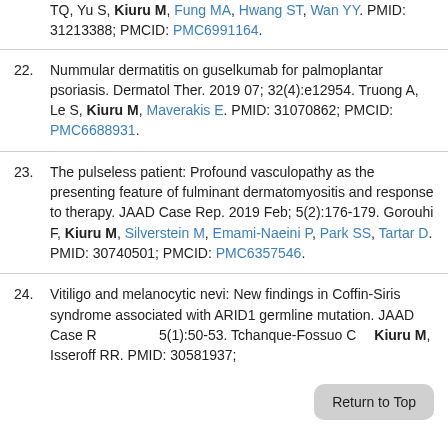TQ, Yu S, Kiuru M, Fung MA, Hwang ST, Wan YY. PMID: 31213388; PMCID: PMC6991164.
22. Nummular dermatitis on guselkumab for palmoplantar psoriasis. Dermatol Ther. 2019 07; 32(4):e12954. Truong A, Le S, Kiuru M, Maverakis E. PMID: 31070862; PMCID: PMC6688931.
23. The pulseless patient: Profound vasculopathy as the presenting feature of fulminant dermatomyositis and response to therapy. JAAD Case Rep. 2019 Feb; 5(2):176-179. Gorouhi F, Kiuru M, Silverstein M, Emami-Naeini P, Park SS, Tartar D. PMID: 30740501; PMCID: PMC6357546.
24. Vitiligo and melanocytic nevi: New findings in Coffin-Siris syndrome associated with ARID1 germline mutation. JAAD Case Rep. 2019; 5(1):50-53. Tchanque-Fossuo CN, Kiuru M, Isseroff RR. PMID: 30581937;